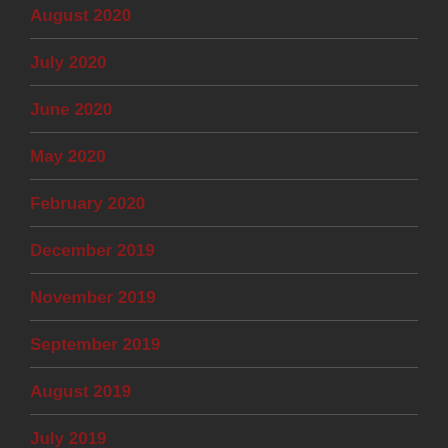August 2020
July 2020
June 2020
May 2020
February 2020
December 2019
November 2019
September 2019
August 2019
July 2019
June 2019